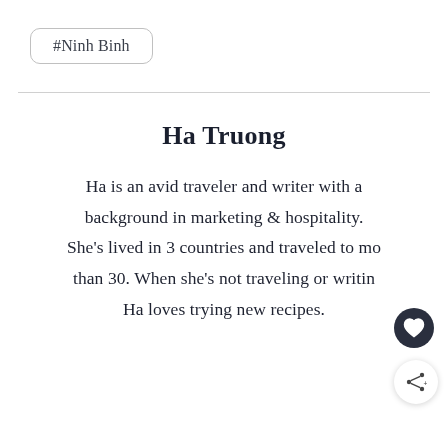#Ninh Binh
Ha Truong
Ha is an avid traveler and writer with a background in marketing & hospitality. She's lived in 3 countries and traveled to more than 30. When she's not traveling or writing, Ha loves trying new recipes.